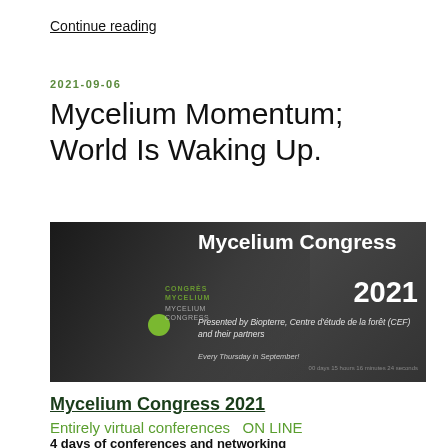Continue reading
2021-09-06
Mycelium Momentum; World Is Waking Up.
[Figure (photo): Promotional banner for Mycelium Congress 2021, showing a black-and-white photo of hands with a glowing orb, with green congress logo text on left and white text on right reading 'Mycelium Congress 2021 — Presented by Biopterre, Centre d'étude de la forêt (CEF) and their partners. Every Thursday in September!']
Mycelium Congress 2021
Entirely virtual conferences   ON LINE
4 days of conferences and networking
Every Thursday in September! 2,9 & 16 Sept, 2021 and 23 Sept, 2021